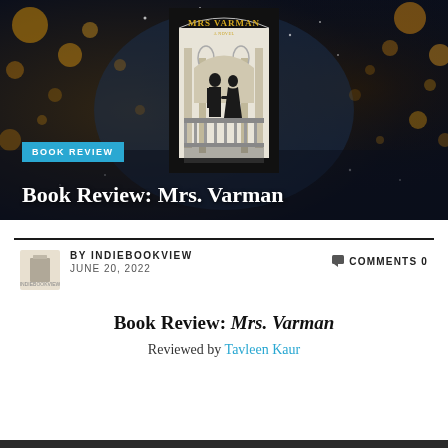[Figure (illustration): Hero banner with bokeh/sparkle background (dark blue-brown tones with golden bokeh lights) and a book cover for 'Mrs Varman: A Novel' centered, showing silhouettes of two people holding hands under an ornate archway.]
BOOK REVIEW
Book Review: Mrs. Varman
BY INDIEBOOKVIEW   COMMENTS 0
JUNE 20, 2022
Book Review: Mrs. Varman
Reviewed by Tavleen Kaur